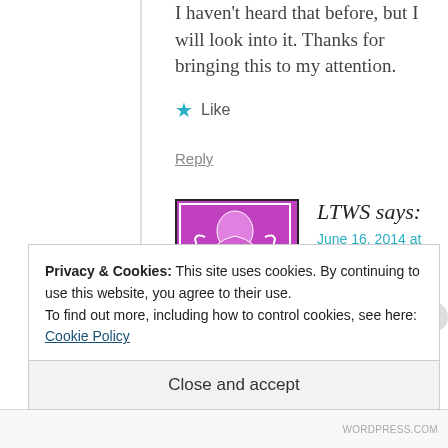I haven't heard that before, but I will look into it. Thanks for bringing this to my attention.
Like
Reply
LTWS says:
June 16, 2014 at 11:32 pm
Privacy & Cookies: This site uses cookies. By continuing to use this website, you agree to their use.
To find out more, including how to control cookies, see here: Cookie Policy
Close and accept